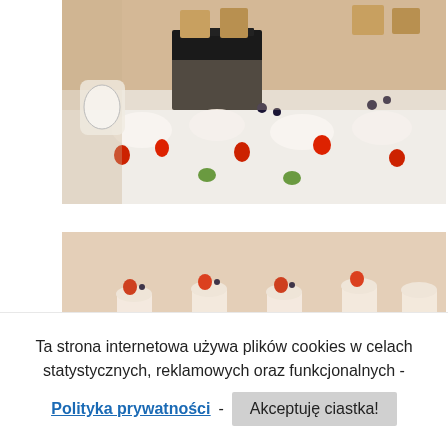[Figure (photo): A close-up blurred photo of a dessert table with pastries, cakes on a tiered stand, strawberries, blueberries and cream decorations on a white tablecloth.]
[Figure (photo): A second photo of a dessert table with cream desserts and strawberries on a light beige/pink background, partially visible, lower portion of a dessert display.]
Ta strona internetowa używa plików cookies w celach statystycznych, reklamowych oraz funkcjonalnych -
Polityka prywatności - Akceptuję ciastka!